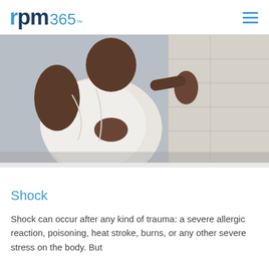rpm365™
[Figure (photo): A man leaning against a stone wall clutching his chest, appearing to be in distress, possibly experiencing a heart attack or chest pain.]
Shock
Shock can occur after any kind of trauma: a severe allergic reaction, poisoning, heat stroke, burns, or any other severe stress on the body. But